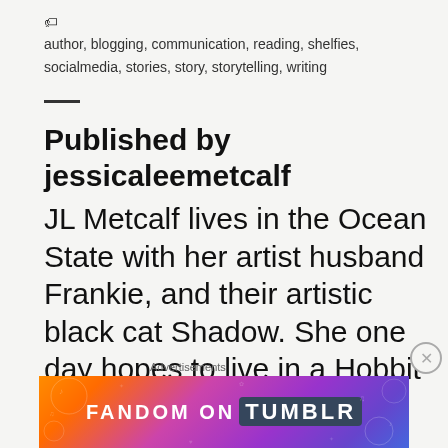author, blogging, communication, reading, shelfies, socialmedia, stories, story, storytelling, writing
—
Published by jessicaleemetcalf
JL Metcalf lives in the Ocean State with her artist husband Frankie, and their artistic black cat Shadow. She one day hopes to live in a Hobbit Hole
[Figure (illustration): Tumblr Fandom advertisement banner with orange to purple gradient and text 'FANDOM ON tumblr']
Advertisements